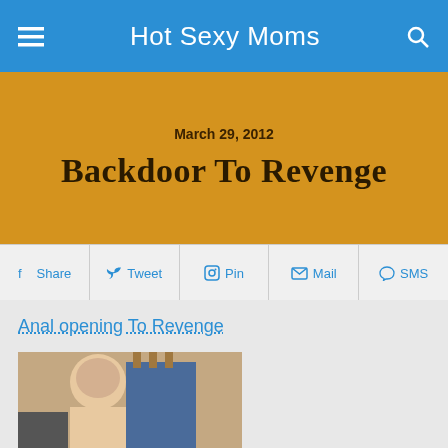Hot Sexy Moms
March 29, 2012
Backdoor To Revenge
Share | Tweet | Pin | Mail | SMS
Anal opening To Revenge
[Figure (photo): Woman with short blonde hair next to a man in jeans]